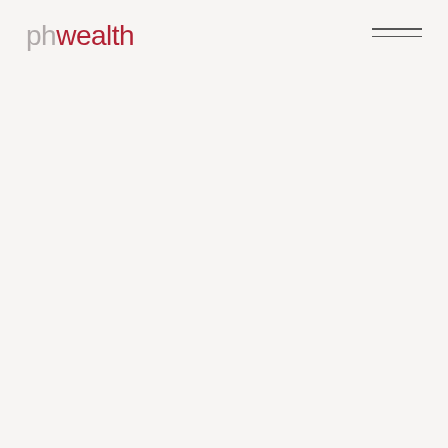[Figure (logo): phwealth logo — 'ph' in grey, 'wealth' in dark red, sans-serif font]
[Figure (other): Hamburger menu icon — two horizontal dark grey lines stacked vertically]